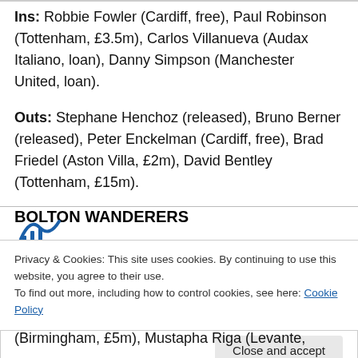Ins: Robbie Fowler (Cardiff, free), Paul Robinson (Tottenham, £3.5m), Carlos Villanueva (Audax Italiano, loan), Danny Simpson (Manchester United, loan).
Outs: Stephane Henchoz (released), Bruno Berner (released), Peter Enckelman (Cardiff, free), Brad Friedel (Aston Villa, £2m), David Bentley (Tottenham, £15m).
BOLTON WANDERERS
Privacy & Cookies: This site uses cookies. By continuing to use this website, you agree to their use. To find out more, including how to control cookies, see here: Cookie Policy
(Birmingham, £5m), Mustapha Riga (Levante,